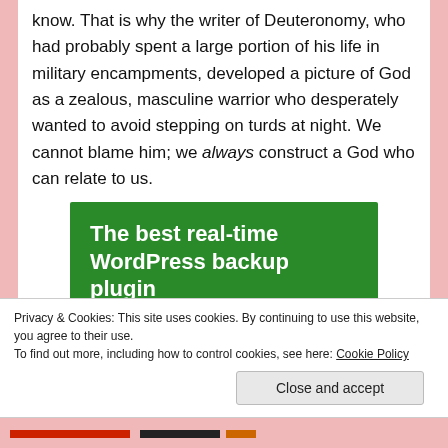know. That is why the writer of Deuteronomy, who had probably spent a large portion of his life in military encampments, developed a picture of God as a zealous, masculine warrior who desperately wanted to avoid stepping on turds at night. We cannot blame him; we always construct a God who can relate to us.
[Figure (other): Advertisement banner with green background. Heading: 'The best real-time WordPress backup plugin'. Button: 'Back up your site']
Privacy & Cookies: This site uses cookies. By continuing to use this website, you agree to their use.
To find out more, including how to control cookies, see here: Cookie Policy
Close and accept